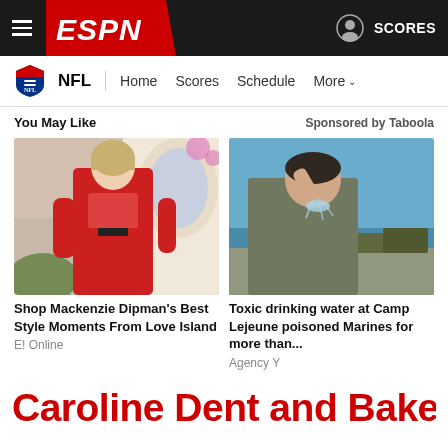ESPN - NFL - Home Scores Schedule More - SCORES
NFL | Home  Scores  Schedule  More
You May Like
Sponsored by Taboola
[Figure (photo): Woman in red bikini and red cover-up outdoors]
Shop Mackenzie Dipman's Best Style Moments From Love Island
E! Online
[Figure (photo): Soldier in camouflage drinking water outdoors near military vehicles]
Toxic drinking water at Camp Lejeune poisoned Marines for more than...
Agency Y
Caroline Dent and Baker Mayfield